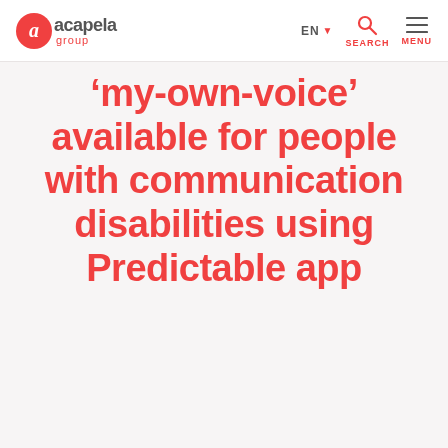acapela group — EN — SEARCH — MENU
'my-own-voice' available for people with communication disabilities using Predictable app